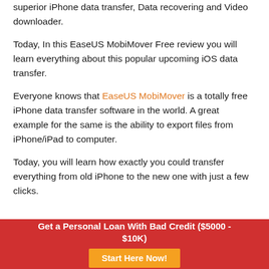superior iPhone data transfer, Data recovering and Video downloader.
Today, In this EaseUS MobiMover Free review you will learn everything about this popular upcoming iOS data transfer.
Everyone knows that EaseUS MobiMover is a totally free iPhone data transfer software in the world. A great example for the same is the ability to export files from iPhone/iPad to computer.
Today, you will learn how exactly you could transfer everything from old iPhone to the new one with just a few clicks.
Get a Personal Loan With Bad Credit ($5000 - $10K)  Start Here Now!